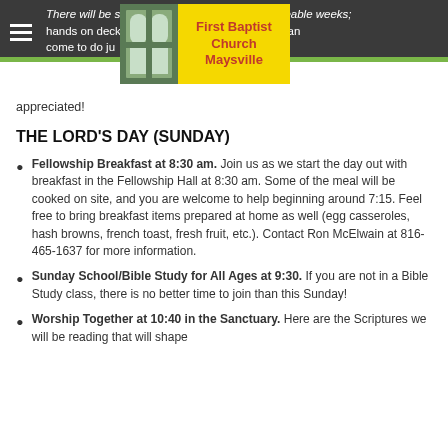First Baptist Church Maysville
appreciated!
THE LORD'S DAY (SUNDAY)
Fellowship Breakfast at 8:30 am. Join us as we start the day out with breakfast in the Fellowship Hall at 8:30 am. Some of the meal will be cooked on site, and you are welcome to help beginning around 7:15. Feel free to bring breakfast items prepared at home as well (egg casseroles, hash browns, french toast, fresh fruit, etc.). Contact Ron McElwain at 816-465-1637 for more information.
Sunday School/Bible Study for All Ages at 9:30. If you are not in a Bible Study class, there is no better time to join than this Sunday!
Worship Together at 10:40 in the Sanctuary. Here are the Scriptures we will be reading that will shape